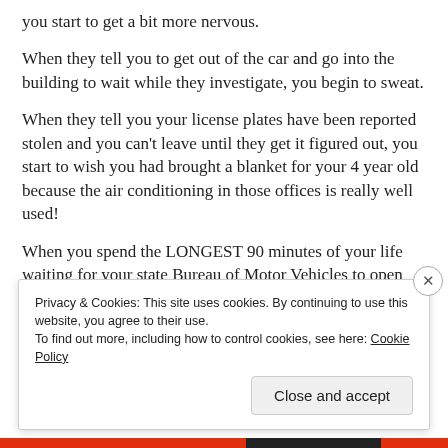you start to get a bit more nervous.
When they tell you to get out of the car and go into the building to wait while they investigate, you begin to sweat.
When they tell you your license plates have been reported stolen and you can’t leave until they get it figured out, you start to wish you had brought a blanket for your 4 year old because the air conditioning in those offices is really well used!
When you spend the LONGEST 90 minutes of your life waiting for your state Bureau of Motor Vehicles to open and hoping they can confirm that you are in fact the owner of your vehicle
Privacy & Cookies: This site uses cookies. By continuing to use this website, you agree to their use.
To find out more, including how to control cookies, see here: Cookie Policy
Close and accept